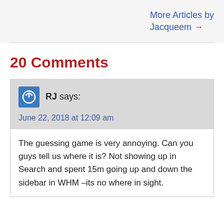More Articles by Jacqueem →
20 Comments
RJ says:
June 22, 2018 at 12:09 am
The guessing game is very annoying. Can you guys tell us where it is? Not showing up in Search and spent 15m going up and down the sidebar in WHM –its no where in sight.